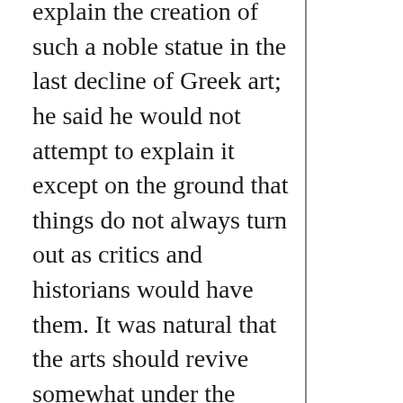explain the creation of such a noble statue in the last decline of Greek art; he said he would not attempt to explain it except on the ground that things do not always turn out as critics and historians would have them. It was natural that the arts should revive somewhat under the patronage of Hadrian and the Antonines.
We went into the museum of the Capitol to look for the bust of the young Aurelius, which shone like a star (to use Homer's expression) among its fellows, but we discovered from the earth-stains on portions of it why the photographers had not